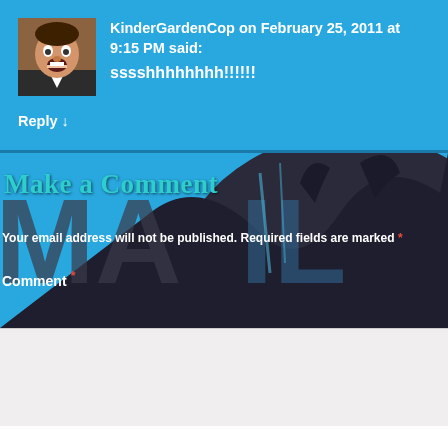KinderGardenCop on February 25, 2011 at 9:15 PM said: sssshhhhhhhh!!!!!!
Reply ↓
Make a Comment
Your email address will not be published. Required fields are marked *
Comment *